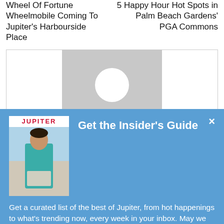Wheel Of Fortune Wheelmobile Coming To Jupiter's Harbourside Place
5 Happy Hour Hot Spots in Palm Beach Gardens' PGA Commons
[Figure (illustration): Grey placeholder box with white circle representing a profile/person image]
[Figure (photo): Jupiter magazine cover showing a man in a teal floral shirt]
Get the Insider's Guide
Get a curated list of the best of Jupiter, from hot happenings to what's trending now, every week in your inbox. May we add you to our list?
Sign Me Up!